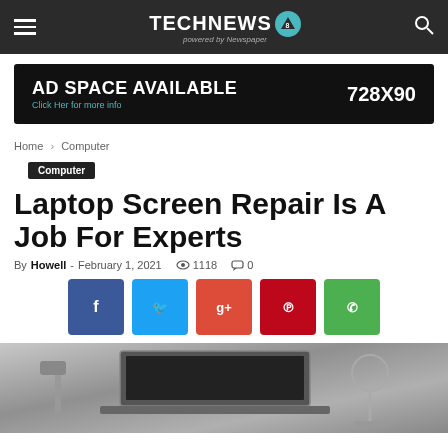TECHNEWS 8 — powered by Newspaper (nav bar)
[Figure (other): Advertisement banner: AD SPACE AVAILABLE, Click Her for more info, 728X90]
Home › Computer
Computer (category tag)
Laptop Screen Repair Is A Job For Experts
By Howell - February 1, 2021  👁 1118  💬 0
[Figure (other): Social share buttons: Facebook, Twitter, Google+, Pinterest, WhatsApp]
[Figure (photo): Grayscale photo of laptop screen repair equipment/tools in a workshop]